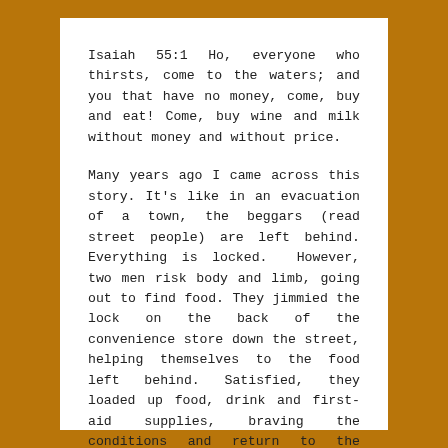Isaiah 55:1 Ho, everyone who thirsts, come to the waters; and you that have no money, come, buy and eat! Come, buy wine and milk without money and without price.
Many years ago I came across this story. It's like in an evacuation of a town, the beggars (read street people) are left behind. Everything is locked.  However, two men risk body and limb, going out to find food. They jimmied the lock on the back of the convenience store down the street, helping themselves to the food left behind. Satisfied, they loaded up food, drink and first-aid supplies, braving the conditions and return to the group. Why did they do that? Later, one of them said, “We're just beggar telling other beggars where to find food. We should have the manners to pass the bread.” It is so.
In hope, in spite of the facts.
John